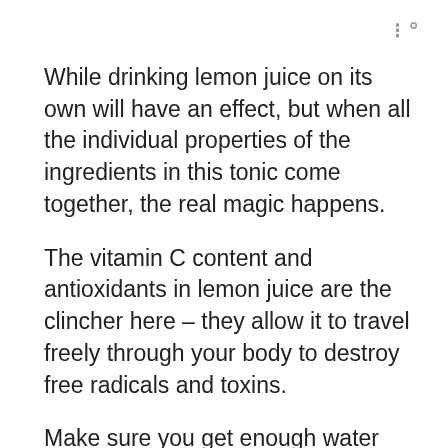w°
While drinking lemon juice on its own will have an effect, but when all the individual properties of the ingredients in this tonic come together, the real magic happens.
The vitamin C content and antioxidants in lemon juice are the clincher here – they allow it to travel freely through your body to destroy free radicals and toxins.
Make sure you get enough water and exercise for the absolute best benefit of this tonic.
(You may also like: Cinnamon and Honey